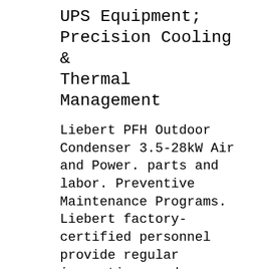UPS Equipment; Precision Cooling & Thermal Management
Liebert PFH Outdoor Condenser 3.5-28kW Air and Power. parts and labor. Preventive Maintenance Programs. Liebert factory-certified personnel provide regular inspections and service to extend the life of the system. Liebert Spare Parts. Highest-quality parts, designed for your system, are easily available through your Liebert service representative. Flexibility: Uses Zero Floor Space. The evaporator and indoor condensing units are mounted above the, When DS unit is paired with a Liebert MC series condenser, remove jumper between terminal 71 and